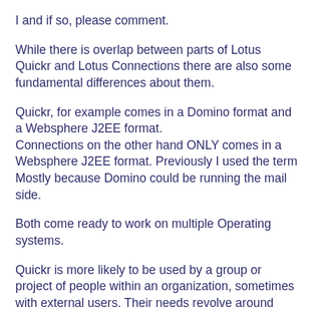I and if so, please comment.
While there is overlap between parts of Lotus Quickr and Lotus Connections there are also some fundamental differences about them.
Quickr, for example comes in a Domino format and a Websphere J2EE format.
Connections on the other hand ONLY comes in a Websphere J2EE format. Previously I used the term Mostly because Domino could be running the mail side.
Both come ready to work on multiple Operating systems.
Quickr is more likely to be used by a group or project of people within an organization, sometimes with external users. Their needs revolve around secure file sharing, some workflow perhaps, management of details and deadlines and of course the ability to let others know when something has been posted or changed with an alert via email. Security is the primary benefit, sharing of data and being selective about who can see or edit that data is of importance. This is